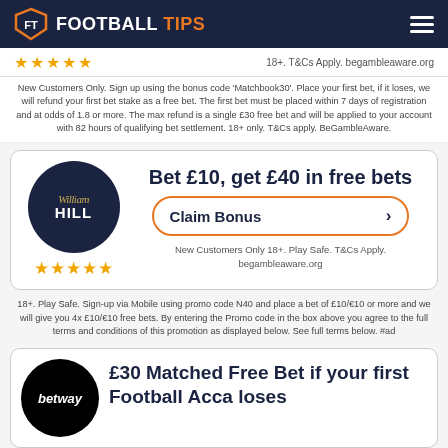FOOTBALL TIPS
18+. T&Cs Apply. begambleaware.org
New Customers Only. Sign up using the bonus code 'Matchbook30'. Place your first bet, if it loses, we will refund your first bet stake as a free bet. The first bet must be placed within 7 days of registration and at odds of 1.8 or more. The max refund is a single £30 free bet and will be applied to your account with 82 hours of qualifying bet settlement. 18+ only. T&Cs apply. BeGambleAware.
[Figure (logo): William Hill bookmaker logo in dark navy circle with gold/white script text]
Bet £10, get £40 in free bets
Claim Bonus
New Customers Only 18+. Play Safe. T&Cs Apply. begambleaware.org
18+. Play Safe. Sign-up via Mobile using promo code N40 and place a bet of £10/€10 or more and we will give you 4x £10/€10 free bets. By entering the Promo code in the box above you agree to the full terms and conditions of this promotion as displayed below. See full terms below. #ad
[Figure (logo): Betway bookmaker logo in black circle with white italic text]
£30 Matched Free Bet if your first Football Acca loses